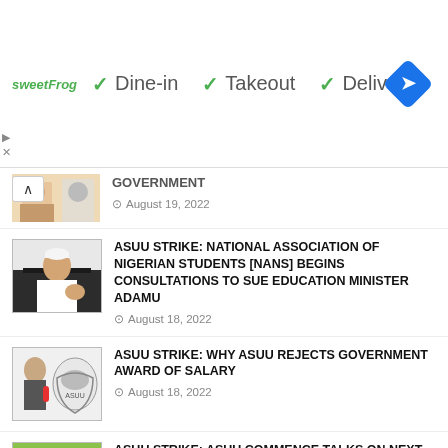[Figure (other): Advertisement banner: sweetFrog logo, checkmarks for Dine-in, Takeout, Delivery, navigation arrow icon]
GOVERNMENT
August 19, 2022
ASUU STRIKE: NATIONAL ASSOCIATION OF NIGERIAN STUDENTS [NANS] BEGINS CONSULTATIONS TO SUE EDUCATION MINISTER ADAMU
August 18, 2022
ASUU STRIKE: WHY ASUU REJECTS GOVERNMENT AWARD OF SALARY
August 18, 2022
ASUU STRIKE: ASUU COMMENCE TALKS ON NEXT STEP
August 18, 2022